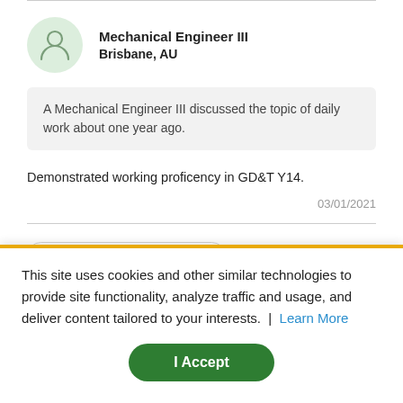Mechanical Engineer III
Brisbane, AU
A Mechanical Engineer III discussed the topic of daily work about one year ago.
Demonstrated working proficency in GD&T Y14.
03/01/2021
Submit Other Responsibilities
This site uses cookies and other similar technologies to provide site functionality, analyze traffic and usage, and deliver content tailored to your interests. | Learn More
I Accept